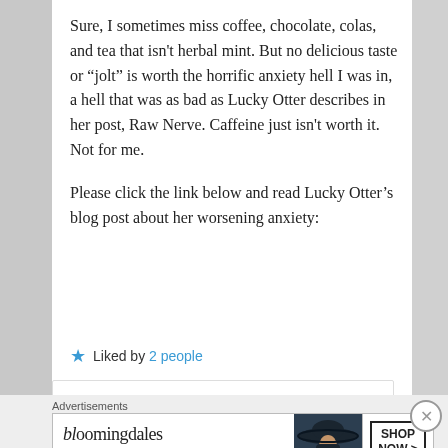Sure, I sometimes miss coffee, chocolate, colas, and tea that isn't herbal mint. But no delicious taste or “jolt” is worth the horrific anxiety hell I was in, a hell that was as bad as Lucky Otter describes in her post, Raw Nerve. Caffeine just isn't worth it. Not for me.
Please click the link below and read Lucky Otter’s blog post about her worsening anxiety:
★ Liked by 2 people
Advertisements
[Figure (screenshot): Bloomingdale's advertisement banner: logo text 'bloomingdales', tagline 'View Today's Top Deals!', image of woman in wide-brim hat, 'SHOP NOW >' button]